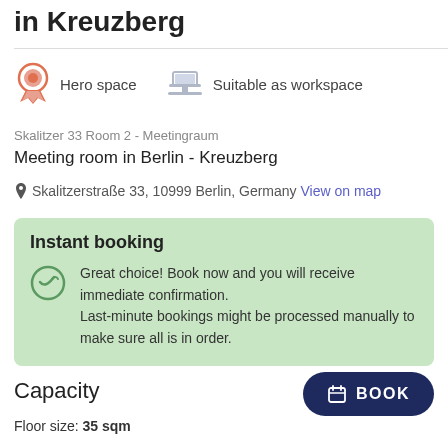in Kreuzberg
Hero space   Suitable as workspace
Skalitzer 33 Room 2 - Meetingraum
Meeting room in Berlin - Kreuzberg
Skalitzerstraße 33, 10999 Berlin, Germany View on map
Instant booking
Great choice! Book now and you will receive immediate confirmation.
Last-minute bookings might be processed manually to make sure all is in order.
Capacity
Floor size: 35 sqm